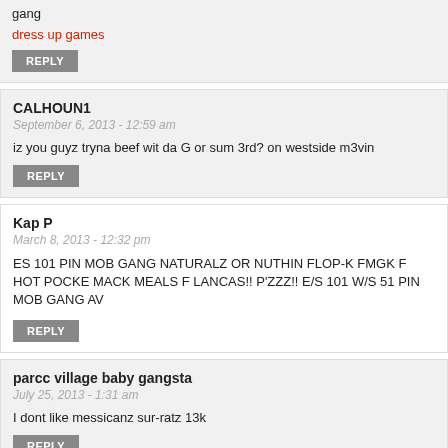gang
dress up games
REPLY
CALHOUN1
September 6, 2013 - 12:59 am
iz you guyz tryna beef wit da G or sum 3rd? on westside m3vin
REPLY
Kap P
March 8, 2013 - 12:32 pm
ES 101 PIN MOB GANG NATURALZ OR NUTHIN FLOP-K FMGK F HOT POCKET MACK MEALS F LANCAS!! P'ZZZ!! E/S 101 W/S 51 PIN MOB GANG AV
REPLY
parcc village baby gangsta
July 25, 2013 - 1:31 am
I dont like messicanz sur-ratz 13k
REPLY
CALHOUN1